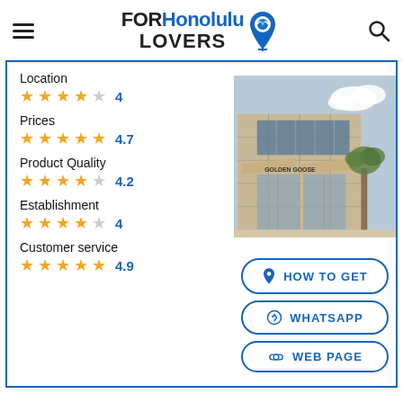FORHonolulu LOVERS
Location ★★★★☆ 4
Prices ★★★★½ 4.7
Product Quality ★★★★☆ 4.2
Establishment ★★★★☆ 4
Customer service ★★★★★ 4.9
[Figure (photo): Exterior photo of a modern beige stone commercial building with awnings, glass doors, and signage reading 'GOLDEN GOOSE']
HOW TO GET
WHATSAPP
WEB PAGE